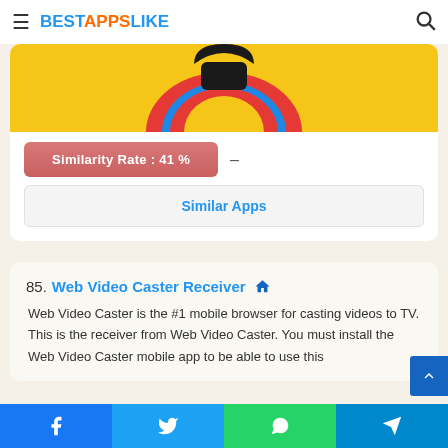BESTAPPSLIKE
[Figure (screenshot): App icon with yellow background, colorful circular ring logo]
Similarity Rate : 41 %
Similar Apps
85. Web Video Caster Receiver
Web Video Caster is the #1 mobile browser for casting videos to TV. This is the receiver from Web Video Caster. You must install the Web Video Caster mobile app to be able to use this
Facebook Twitter WhatsApp Telegram